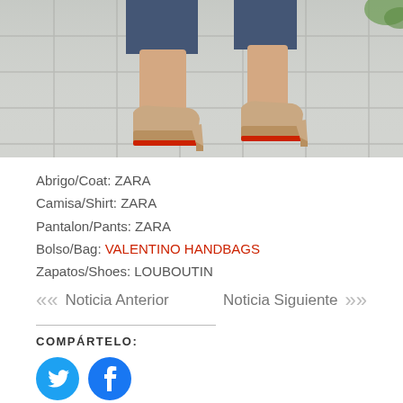[Figure (photo): Close-up photo of legs wearing high-heel platform shoes with red soles (Louboutin) and jeans, standing on stone pavement tiles.]
Abrigo/Coat: ZARA
Camisa/Shirt: ZARA
Pantalon/Pants: ZARA
Bolso/Bag: VALENTINO HANDBAGS
Zapatos/Shoes: LOUBOUTIN
<< Noticia Anterior
Noticia Siguiente >>
COMPÁRTELO:
[Figure (logo): Twitter bird icon (white on blue circle)]
[Figure (logo): Facebook f icon (white on blue circle)]